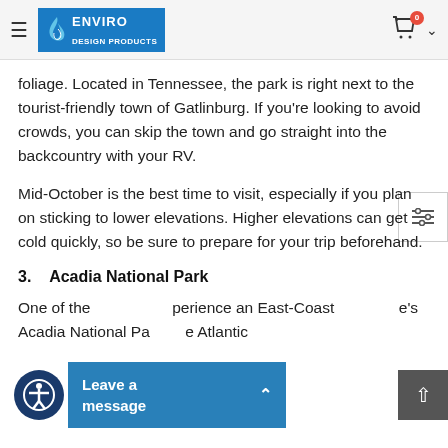ENVIRO DESIGN PRODUCTS
foliage. Located in Tennessee, the park is right next to the tourist-friendly town of Gatlinburg. If you're looking to avoid crowds, you can skip the town and go straight into the backcountry with your RV.
Mid-October is the best time to visit, especially if you plan on sticking to lower elevations. Higher elevations can get cold quickly, so be sure to prepare for your trip beforehand.
3.    Acadia National Park
One of the [...]perience an East-Coast [...]e's Acadia National Pa[...]e Atlantic